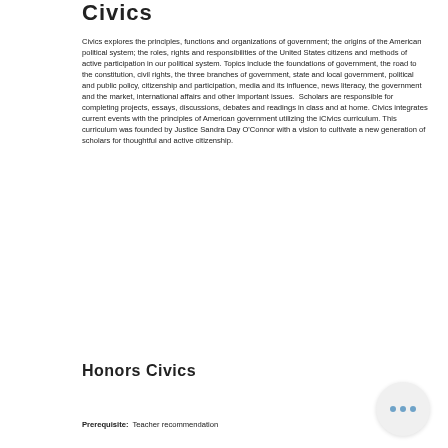Civics
Civics explores the principles, functions and organizations of government; the origins of the American political system; the roles, rights and responsibilities of the United States citizens and methods of active participation in our political system. Topics include the foundations of government, the road to the constitution, civil rights, the three branches of government, state and local government, political and public policy, citizenship and participation, media and its influence, news literacy, the government and the market, international affairs and other important issues. Scholars are responsible for completing projects, essays, discussions, debates and readings in class and at home. Civics integrates current events with the principles of American government utilizing the iCivics curriculum. This curriculum was founded by Justice Sandra Day O'Connor with a vision to cultivate a new generation of scholars for thoughtful and active citizenship.
Honors Civics
Prerequisite:  Teacher recommendation